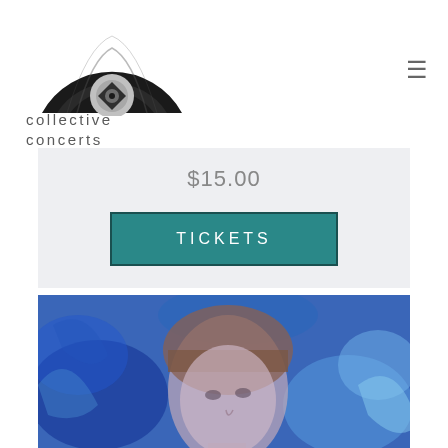[Figure (logo): Collective Concerts logo — vinyl record semi-circle with diamond/eye symbol in center, black and white]
collective
concerts
≡
$15.00
TICKETS
[Figure (photo): Portrait of a woman with bangs and shoulder-length auburn hair against a vivid blue ink-in-water background, looking upward, bluish toned photo]